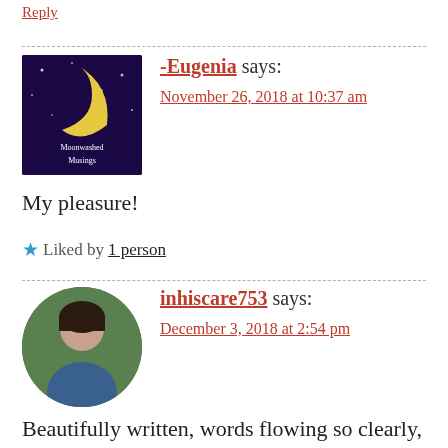Reply
-Eugenia says:
November 26, 2018 at 10:37 am
My pleasure!
Liked by 1 person
inhiscare753 says:
December 3, 2018 at 2:54 pm
Beautifully written, words flowing so clearly, so impactful to the heart 💜. Embracing from the start..